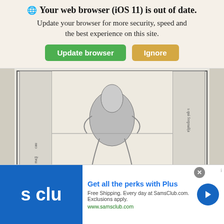Your web browser (iOS 11) is out of date. Update your browser for more security, speed and the best experience on this site.
[Figure (illustration): Brass tomb effigy engraving of French knight Geoffroi II de Charny in medieval style, with Gothic text at bottom, from Monuments français inédits, 1839.]
Brass tomb effigy of French knight Geoffroi II de Charny. (unknown (Image taken from “Monuments français inédits pour servir à l’histoire des arts,” Nicolas Xavier Willemin, Paris, 1839.), Public domain, via Wikimedia Commons)
part of the Hundred Years' War against the English
[Figure (infographic): Advertisement banner for Sam's Club Plus membership. Blue logo with 's clu' text. Headline: Get all the perks with Plus. Free Shipping. Every day at SamsClub.com. Exclusions apply. www.samsclub.com]